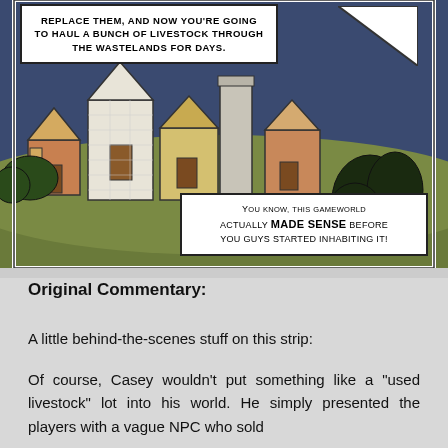[Figure (illustration): Comic strip panel showing a medieval/fantasy village scene with small houses on a hill at night. Top-left speech bubble reads: 'REPLACE THEM, AND NOW YOU'RE GOING TO HAUL A BUNCH OF LIVESTOCK THROUGH THE WASTELANDS FOR DAYS.' Bottom-right speech bubble reads: 'You know, this gameworld actually MADE SENSE before you guys started inhabiting it!']
Original Commentary:
A little behind-the-scenes stuff on this strip:
Of course, Casey wouldn't put something like a "used livestock" lot into his world. He simply presented the players with a vague NPC who sold